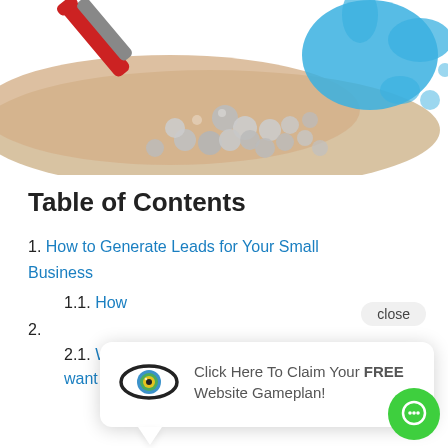[Figure (photo): Photo of steel ball bearings attracted to a red magnet on a brown/tan background, with a blue paint splash in the upper right corner]
Table of Contents
1. How to Generate Leads for Your Small Business
1.1. How [partially obscured by popup]
2. [partially obscured by popup]
2.1. What problem do your customers want to solve?
[Figure (infographic): Popup tooltip showing an eye/target logo and text: Click Here To Claim Your FREE Website Gameplan! with a close button]